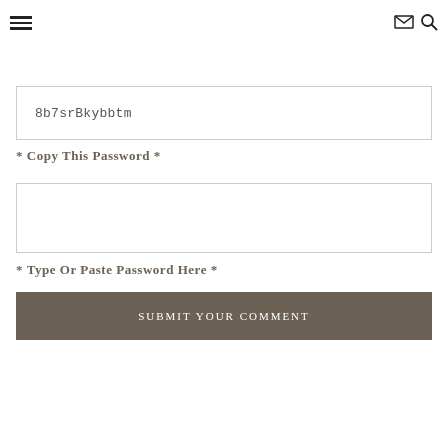Navigation header with hamburger menu, envelope icon, and search icon
8b7srBkybbtm
* Copy This Password *
* Type Or Paste Password Here *
SUBMIT YOUR COMMENT